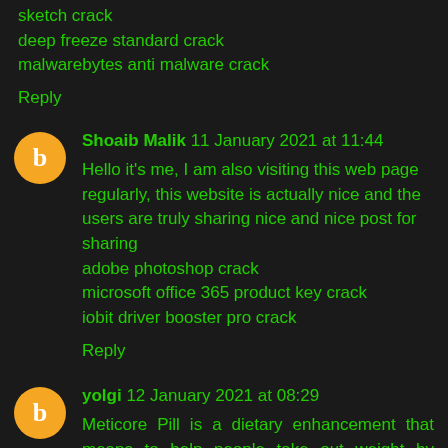sketch crack
deep freeze standard crack
malwarebytes anti malware crack
Reply
Shoaib Malik  11 January 2021 at 11:44
Hello it's me, I am also visiting this web page regularly, this website is actually nice and the users are truly sharing nice and nice post for sharing
adobe photoshop crack
microsoft office 365 product key crack
iobit driver booster pro crack
Reply
yolgi  12 January 2021 at 08:29
Meticore Pill is a dietary enhancement that means to help people take out weight by improving the framework to remain and enter in the condition of ketosis. On the off